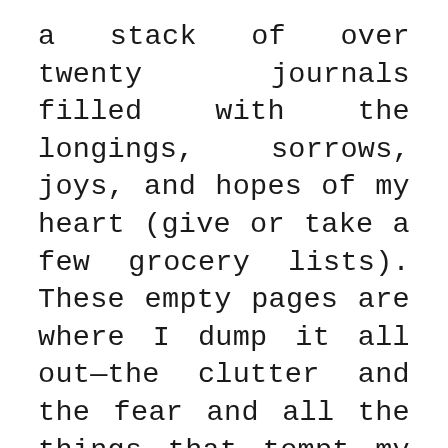a stack of over twenty journals filled with the longings, sorrows, joys, and hopes of my heart (give or take a few grocery lists). These empty pages are where I dump it all out—the clutter and the fear and all the things that tempt my mind to wander when I sit down for some quiet time with the Lord. Once I have unraveled my mind, I can be fully present to God, offering Him an open heart, ready to receive. Prayer journaling, which I believe is prompted by the Blessed Mother, has been my guide into a deeper relationship with the